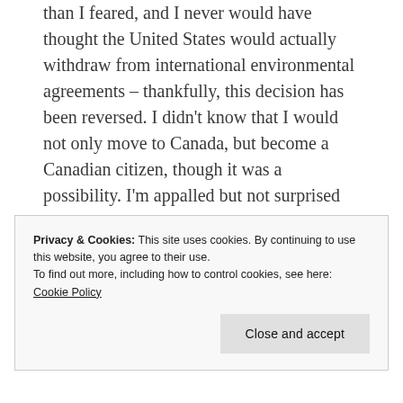than I feared, and I never would have thought the United States would actually withdraw from international environmental agreements – thankfully, this decision has been reversed. I didn't know that I would not only move to Canada, but become a Canadian citizen, though it was a possibility. I'm appalled but not surprised by the racism, ethnic hatred, misogyny, and violence of these years, as I wrote in that first blog post in 2003 [...]
Privacy & Cookies: This site uses cookies. By continuing to use this website, you agree to their use. To find out more, including how to control cookies, see here: Cookie Policy
Close and accept